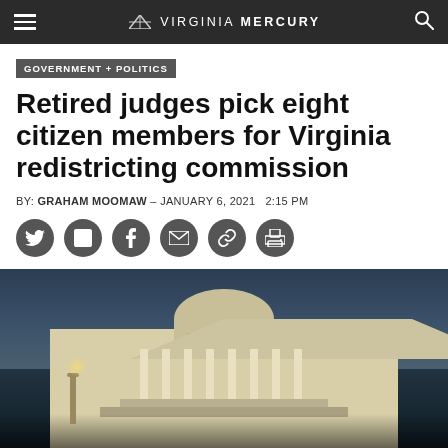VIRGINIA MERCURY
GOVERNMENT + POLITICS
Retired judges pick eight citizen members for Virginia redistricting commission
BY: GRAHAM MOOMAW - JANUARY 6, 2021  2:15 PM
[Figure (photo): Night-time photo of the Virginia State Capitol building, a neoclassical white building with large columns illuminated against a dark blue evening sky.]